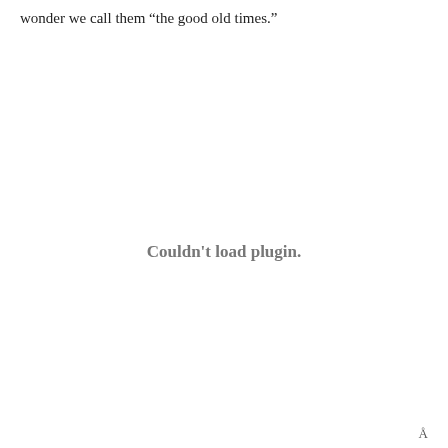wonder we call them “the good old times.”
Couldn't load plugin.
Å